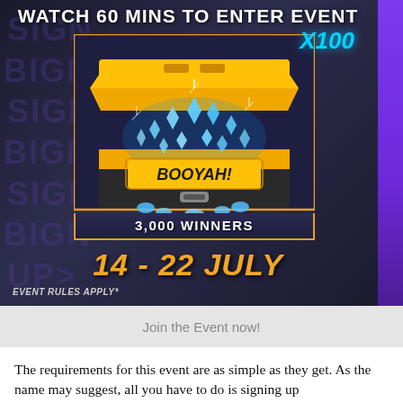WATCH 60 MINS TO ENTER EVENT
[Figure (illustration): Loot box (BOOYAH! branded golden chest) overflowing with blue diamonds/gems. Badge showing X100 quantity. Text below reads '3,000 WINNERS'. Date shown as '14 - 22 JULY'. Background has 'SIGN UP & P...' watermark text and purple accent on right.]
EVENT RULES APPLY*
Join the Event now!
The requirements for this event are as simple as they get. As the name may suggest, all you have to do is signing up for the event and watch 60 minutes of content. The S...